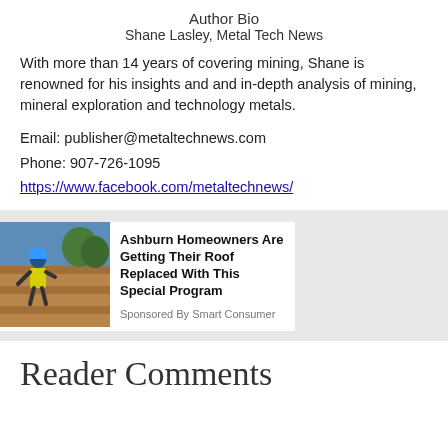Author Bio
Shane Lasley, Metal Tech News
With more than 14 years of covering mining, Shane is renowned for his insights and and in-depth analysis of mining, mineral exploration and technology metals.
Email: publisher@metaltechnews.com
Phone: 907-726-1095
https://www.facebook.com/metaltechnews/
[Figure (photo): Advertisement card showing a worker installing shingles on a roof, with text 'Ashburn Homeowners Are Getting Their Roof Replaced With This Special Program' sponsored by Smart Consumer]
Reader Comments